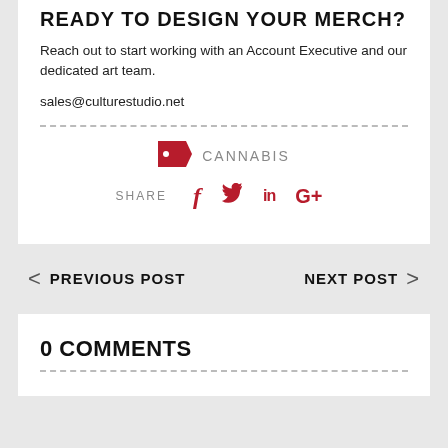READY TO DESIGN YOUR MERCH?
Reach out to start working with an Account Executive and our dedicated art team.
sales@culturestudio.net
CANNABIS
SHARE
PREVIOUS POST
NEXT POST
0 COMMENTS